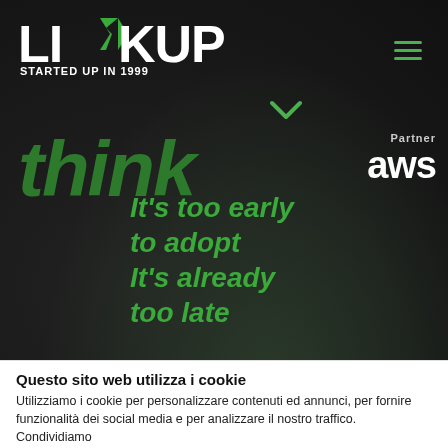[Figure (screenshot): Linkup website hero section with dark background, company logo top-left, hamburger menu top-right, AWS Partner badge, large italic 'think' text in green, and tagline 'It's too early to adopt It's already too late' in green italic text]
Questo sito web utilizza i cookie
Utilizziamo i cookie per personalizzare contenuti ed annunci, per fornire funzionalità dei social media e per analizzare il nostro traffico. Condividiamo